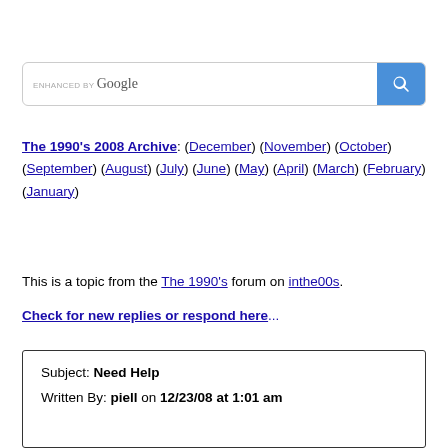[Figure (other): Google search box with search button]
The 1990's 2008 Archive: (December) (November) (October) (September) (August) (July) (June) (May) (April) (March) (February) (January)
This is a topic from the The 1990's forum on inthe00s.
Check for new replies or respond here...
| Subject: Need Help |
| Written By: piell on 12/23/08 at 1:01 am |